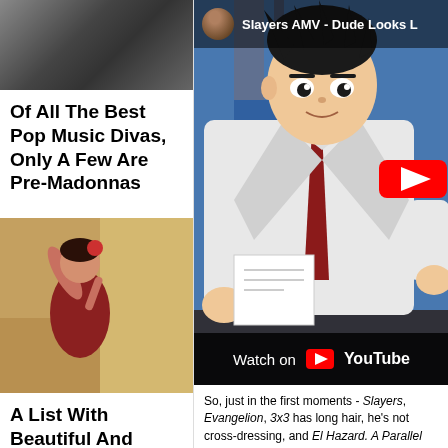[Figure (photo): Dark/blurred photo at top of left column]
Of All The Best Pop Music Divas, Only A Few Are Pre-Madonnas
[Figure (photo): Photo of a woman with dark hair in red clothing, appearing to be a dancer]
A List With Beautiful And Talented French Actresses
[Figure (photo): Photo at bottom of left column, partially visible]
[Figure (screenshot): YouTube video embed: Slayers AMV - Dude Looks L... showing anime character in white shirt with red tie, Watch on YouTube overlay bar at bottom]
So, just in the first moments - Slayers, Evangelion, 3x3 has long hair, he's not cross-dressing, and El Hazard. A Parallel Trouble Adventure, Dragon Half, Ranma, and
Which all came out around the same time.